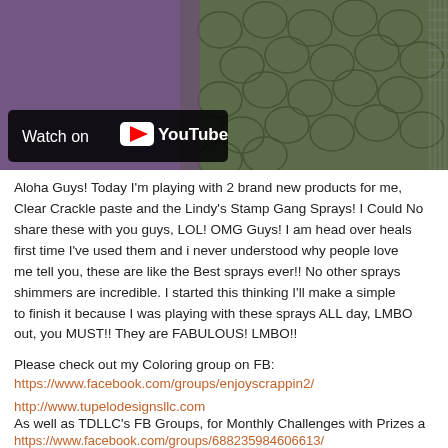[Figure (screenshot): YouTube video thumbnail showing craft materials with a 'Watch on YouTube' overlay button]
Aloha Guys! Today I'm playing with 2 brand new products for me, the Clear Crackle paste and the Lindy's Stamp Gang Sprays! I Could Not share these with you guys, LOL! OMG Guys! I am head over heals first time I've used them and i never understood why people love me tell you, these are like the Best sprays ever!! No other sprays shimmers are incredible. I started this thinking I'll make a simple to finish it because I was playing with these sprays ALL day, LMBO out, you MUST!! They are FABULOUS! LMBO!!
Please check out my Coloring group on FB:
https://www.facebook.com/groups/enjoyscrappin2/
http://www.tupelodesignsllc.com
As well as TDLLC's FB Groups, for Monthly Challenges with Prizes a
https://www.facebook.com/groups/688235984606613/
https://www.facebook.com/groups/742706142469276/